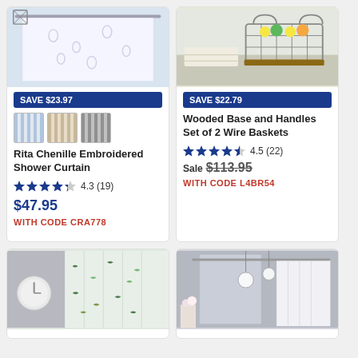[Figure (photo): Shower curtain product image - white embroidered curtain]
SAVE $23.97
[Figure (photo): Three thumbnail images of shower curtain color variants]
Rita Chenille Embroidered Shower Curtain
4.3 (19)
$47.95
WITH CODE CRA778
[Figure (photo): Wire baskets with wooden base and handles, with fruit and cloth]
SAVE $22.79
Wooded Base and Handles Set of 2 Wire Baskets
4.5 (22)
Sale $113.95
WITH CODE L4BR54
[Figure (photo): Bird print curtain panel with round wall art]
[Figure (photo): White shower curtain with globe pendants]